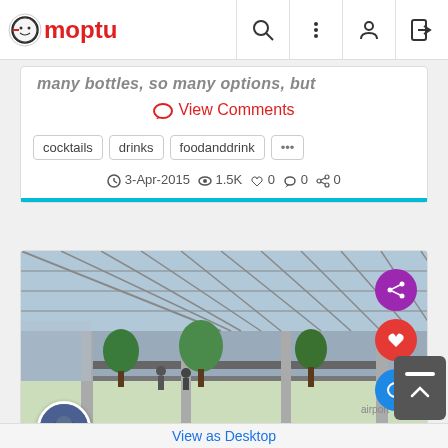[Figure (screenshot): Moptu website navigation bar with logo, search icon, menu icon, user icon, and login icon]
many bottles, so many options, but
View Comments
cocktails
drinks
foodanddrink
3-Apr-2015  1.5K  0  0  0
[Figure (photo): Interior of a modern airport terminal with large glass ceiling, plants, and people]
Dave Yeaman
View as Desktop